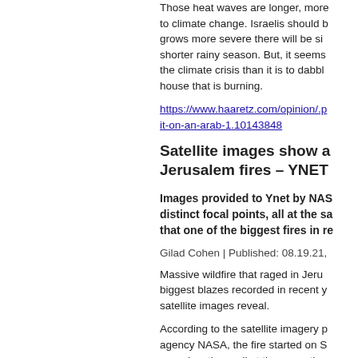Those heat waves are longer, more... to climate change. Israelis should b... grows more severe there will be si... shorter rainy season. But, it seems... the climate crisis than it is to dabbl... house that is burning.
https://www.haaretz.com/opinion/.p... it-on-an-arab-1.10143848
Satellite images show an Jerusalem fires – YNET
Images provided to Ynet by NAS... distinct focal points, all at the sa... that one of the biggest fires in re...
Gilad Cohen | Published: 08.19.21,
Massive wildfire that raged in Jerus... biggest blazes recorded in recent y... satellite images reveal.
According to the satellite imagery p... agency NASA, the fire started on S... away locations, all at the same tim...